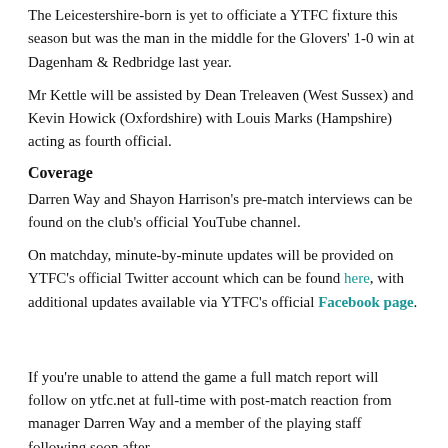The Leicestershire-born is yet to officiate a YTFC fixture this season but was the man in the middle for the Glovers' 1-0 win at Dagenham & Redbridge last year.
Mr Kettle will be assisted by Dean Treleaven (West Sussex) and Kevin Howick (Oxfordshire) with Louis Marks (Hampshire) acting as fourth official.
Coverage
Darren Way and Shayon Harrison's pre-match interviews can be found on the club's official YouTube channel.
On matchday, minute-by-minute updates will be provided on YTFC's official Twitter account which can be found here, with additional updates available via YTFC's official Facebook page.
If you're unable to attend the game a full match report will follow on ytfc.net at full-time with post-match reaction from manager Darren Way and a member of the playing staff following soon after.